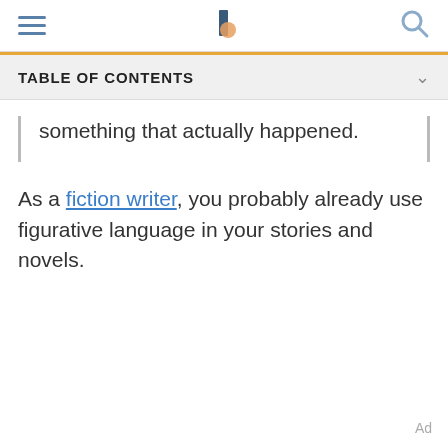TABLE OF CONTENTS
something that actually happened.
As a fiction writer, you probably already use figurative language in your stories and novels.
Ad